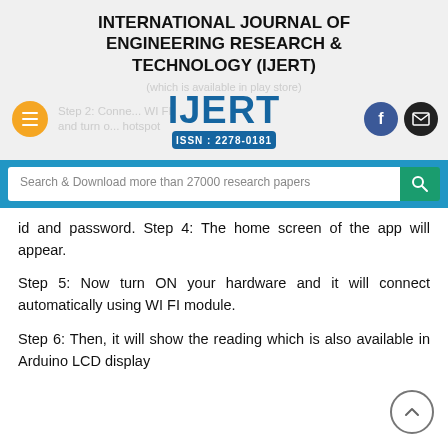INTERNATIONAL JOURNAL OF ENGINEERING RESEARCH & TECHNOLOGY (IJERT)
(which is available in play store)
Step 2: Connect WI FI and turn on hotspot
[Figure (logo): IJERT logo with ISSN: 2278-0181]
Search & Download more than 27000 research papers
id and password. Step 4: The home screen of the app will appear.
Step 5: Now turn ON your hardware and it will connect automatically using WI FI module.
Step 6: Then, it will show the reading which is also available in Arduino LCD display